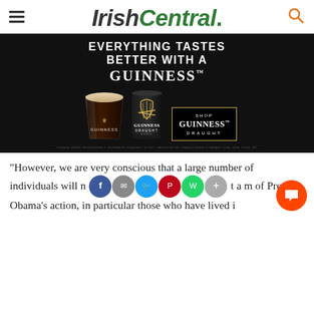IrishCentral.
[Figure (photo): Guinness advertisement: 'Everything Tastes Better With A Guinness' showing a pint glass and can of Guinness Draught Stout, with a 'Shop Guinness Draught' call-to-action box with gold border on black background.]
"However, we are very conscious that a large number of individuals will not be in favour of President Obama's action, in particular those who have lived i…